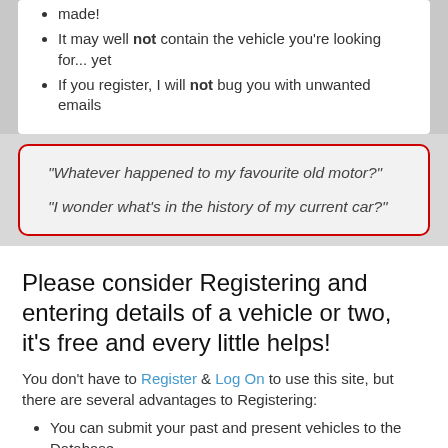made!
It may well not contain the vehicle you're looking for... yet
If you register, I will not bug you with unwanted emails
"Whatever happened to my favourite old motor?"
"I wonder what's in the history of my current car?"
Please consider Registering and entering details of a vehicle or two, it's free and every little helps!
You don't have to Register & Log On to use this site, but there are several advantages to Registering:
You can submit your past and present vehicles to the Database
You can add vehicles you'd like to find to the 'Wish List'
You will be emailed when a wished for vehicle is entered
You may optionally receive emails when visitors